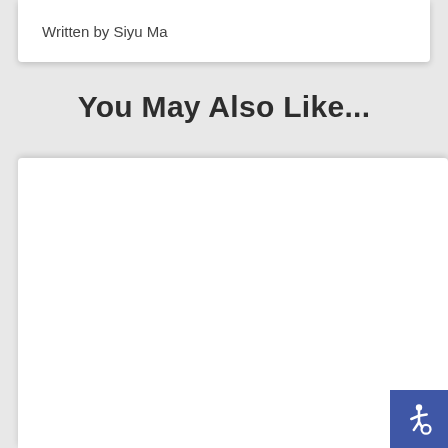Written by Siyu Ma
You May Also Like...
[Figure (other): White content card area, mostly blank, with a blue accessibility button in the bottom-right corner showing the International Symbol of Access (wheelchair icon).]